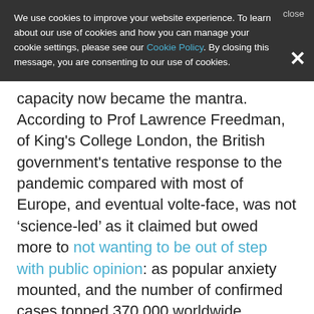We use cookies to improve your website experience. To learn about our use of cookies and how you can manage your cookie settings, please see our Cookie Policy. By closing this message, you are consenting to our use of cookies.
capacity now became the mantra. According to Prof Lawrence Freedman, of King's College London, the British government's tentative response to the pandemic compared with most of Europe, and eventual volte-face, was not ‘science-led’ as it claimed but owed more to not wanting to be out of step with public opinion: as popular anxiety mounted, and the number of confirmed cases topped 370,000 worldwide, Johnson changed tack.
Failure to prepare
Criticism mounted as it became clear how badly the British government was performing compared with countries such as South Korea, which became a role model for how to